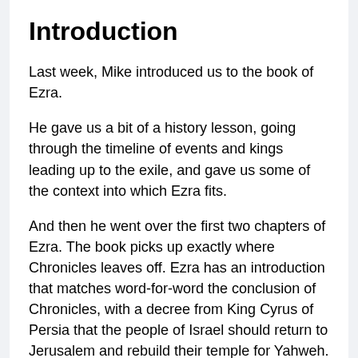Introduction
Last week, Mike introduced us to the book of Ezra.
He gave us a bit of a history lesson, going through the timeline of events and kings leading up to the exile, and gave us some of the context into which Ezra fits.
And then he went over the first two chapters of Ezra. The book picks up exactly where Chronicles leaves off. Ezra has an introduction that matches word-for-word the conclusion of Chronicles, with a decree from King Cyrus of Persia that the people of Israel should return to Jerusalem and rebuild their temple for Yahweh.